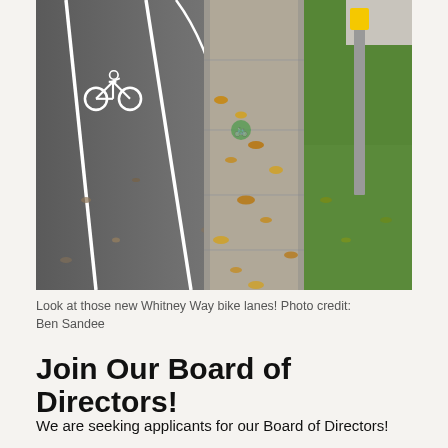[Figure (photo): Street-level photo of new Whitney Way bike lanes: asphalt road with white bicycle lane markings on the left, a wide concrete curb/gutter strip with fallen autumn leaves in the middle, and green grass with a yellow-topped metal post on the right sidewalk area.]
Look at those new Whitney Way bike lanes! Photo credit: Ben Sandee
Join Our Board of Directors!
We are seeking applicants for our Board of Directors!